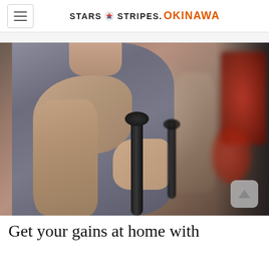Stars and Stripes. OKINAWA
[Figure (photo): A woman in a gray tank top using cable machine handles at a gym, holding the grips with her fists. Background shows blurred red weights and a dark wall. A scroll-to-top button is visible in the lower right corner of the image.]
Get your gains at home with